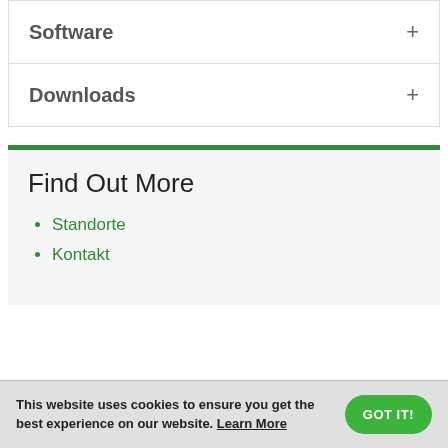Software
Downloads
Find Out More
Standorte
Kontakt
This website uses cookies to ensure you get the best experience on our website. Learn More GOT IT!